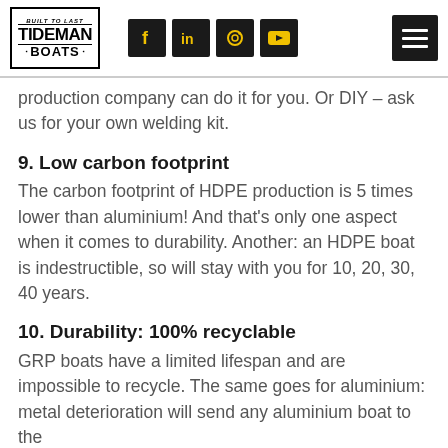TIDEMAN BOATS — Built to Last
production company can do it for you. Or DIY – ask us for your own welding kit.
9. Low carbon footprint
The carbon footprint of HDPE production is 5 times lower than aluminium! And that's only one aspect when it comes to durability. Another: an HDPE boat is indestructible, so will stay with you for 10, 20, 30, 40 years.
10. Durability: 100% recyclable
GRP boats have a limited lifespan and are impossible to recycle. The same goes for aluminium: metal deterioration will send any aluminium boat to the